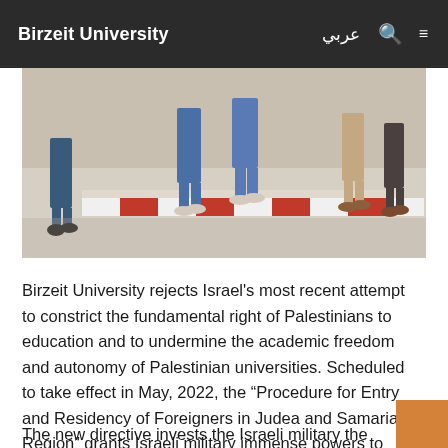Birzeit University
[Figure (photo): Students walking on a university campus pathway with red and white painted curb, viewed from behind showing their legs and feet on a light-colored paved surface.]
Birzeit University rejects Israel’s most recent attempt to constrict the fundamental right of Palestinians to education and to undermine the academic freedom and autonomy of Palestinian universities. Scheduled to take effect in May, 2022, the “Procedure for Entry and Residency of Foreigners in Judea and Samaria Region” grants Israeli military immense powers to isolate Palestinian universities from the outside world, and to determine the future course of Palestinian higher education.
The new directive invests the Israeli military the